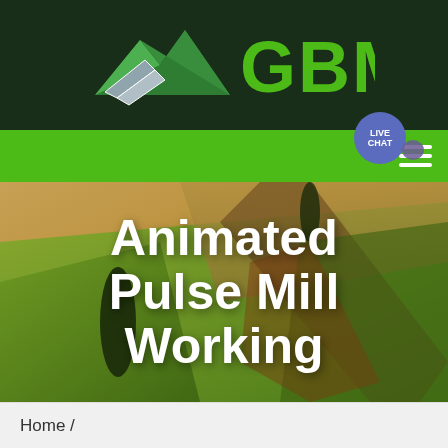GBM
[Figure (screenshot): GBM company logo with mountain/arrow graphic in dark green header bar]
[Figure (photo): Aerial view of agricultural fields with a large white bold text overlay reading 'Animated Pulse Mill Working']
Animated Pulse Mill Working
Home /